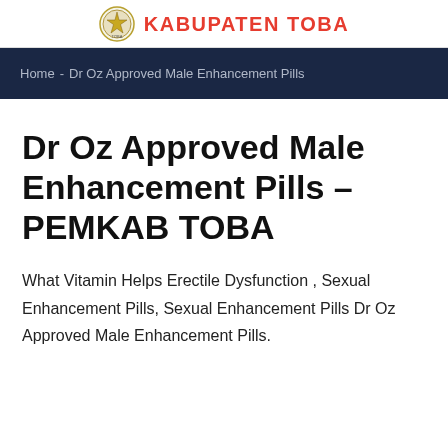KABUPATEN TOBA
Home - Dr Oz Approved Male Enhancement Pills
Dr Oz Approved Male Enhancement Pills – PEMKAB TOBA
What Vitamin Helps Erectile Dysfunction , Sexual Enhancement Pills, Sexual Enhancement Pills Dr Oz Approved Male Enhancement Pills.